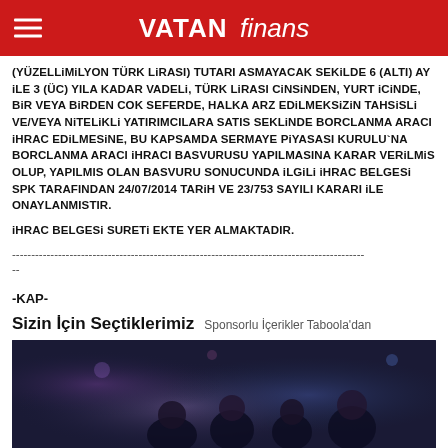VATAN finans
(YUZELLiMiLYON TURK LiRASI) TUTARI ASMAYACAK SEKILDE 6 (ALTI) AY iLE 3 (UC) YILA KADAR VADELi, TURK LiRASI CiNSiNDEN, YURT iCiNDE, BiR VEYA BiRDEN COK SEFERDE, HALKA ARZ EDiLMEKSiZiN TAHSiSLi VE/VEYA NiTELiKLi YATIRIMCILARA SATIS SEKLiNDE BORCLANMA ARACI iHRAC EDiLMESiNE, BU KAPSAMDA SERMAYE PiYASASI KURULU`NA BORCLANMA ARACI iHRACI BASVURUSU YAPILMASINA KARAR VERiLMiS OLUP, YAPILMIS OLAN BASVURU SONUCUNDA iLGiLi iHRAC BELGESi SPK TARAFINDAN 24/07/2014 TARiH VE 23/753 SAYILI KARARI iLE ONAYLANMISTIR.
iHRAC BELGESi SUREti EKTE YER ALMAKTADIR.
--------------------------------------------------------------------------------------------
--
-KAP-
Sizin İçin Seçtiklerimiz   Sponsorlu İçerikler Taboola'dan
[Figure (photo): A dark photo showing people at what appears to be an event or concert]